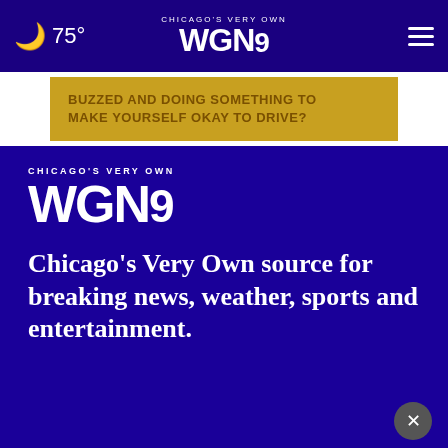75° CHICAGO'S VERY OWN WGN9
[Figure (screenshot): Gold/yellow advertisement banner: BUZZED AND DOING SOMETHING TO MAKE YOURSELF OKAY TO DRIVE?]
[Figure (logo): WGN9 Chicago's Very Own logo on blue background]
Chicago's Very Own source for breaking news, weather, sports and entertainment.
Follow